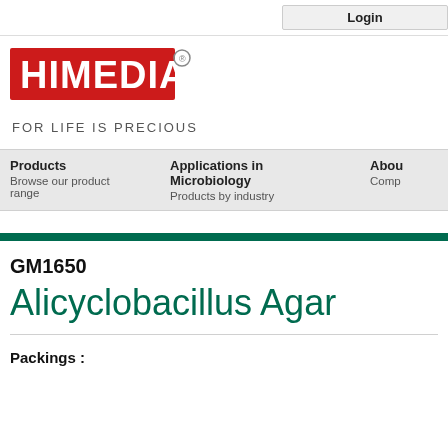Login
[Figure (logo): HiMedia logo — red rectangle with white bold text HIMEDIA and registered trademark symbol, tagline FOR LIFE IS PRECIOUS below]
FOR LIFE IS PRECIOUS
Products
Browse our product range
Applications in Microbiology
Products by industry
About
Comp
GM1650
Alicyclobacillus Agar
Packings :